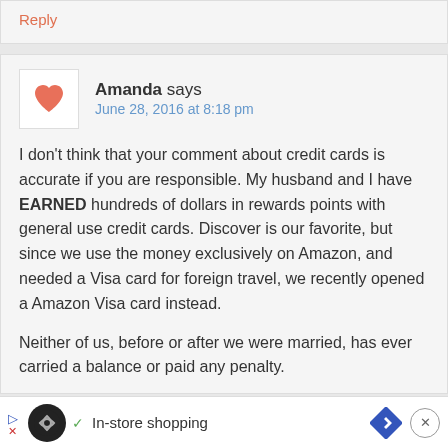Reply
Amanda says
June 28, 2016 at 8:18 pm
I don't think that your comment about credit cards is accurate if you are responsible. My husband and I have EARNED hundreds of dollars in rewards points with general use credit cards. Discover is our favorite, but since we use the money exclusively on Amazon, and needed a Visa card for foreign travel, we recently opened a Amazon Visa card instead.
Neither of us, before or after we were married, has ever...ny. Now...oo.
[Figure (other): Advertisement bar at bottom with logo, In-store shopping text, navigation icon, and close button]